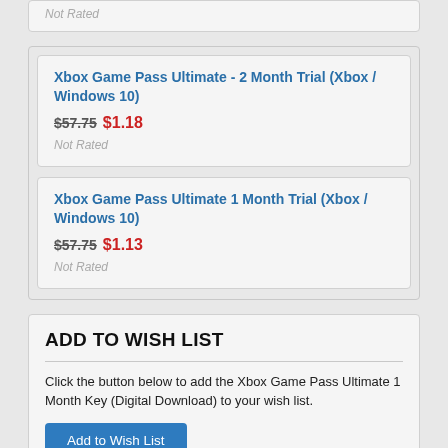Not Rated
Xbox Game Pass Ultimate - 2 Month Trial (Xbox / Windows 10)
$57.75 $1.18
Not Rated
Xbox Game Pass Ultimate 1 Month Trial (Xbox / Windows 10)
$57.75 $1.13
Not Rated
ADD TO WISH LIST
Click the button below to add the Xbox Game Pass Ultimate 1 Month Key (Digital Download) to your wish list.
Add to Wish List